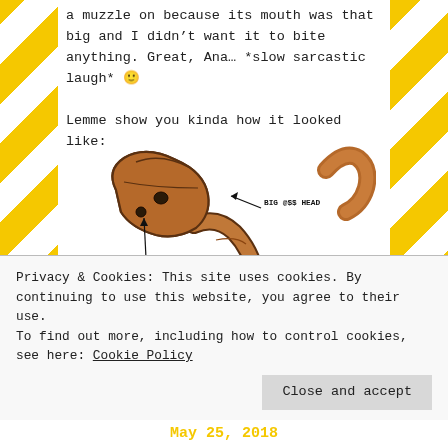a muzzle on because its mouth was that big and I didn't want it to bite anything. Great, Ana… *slow sarcastic laugh* 🙂

Lemme show you kinda how it looked like:
[Figure (illustration): Hand-drawn cartoon snake with a large head labeled 'BIG @$$ HEAD' with an arrow, and eyes labeled 'EYES' with an arrow. The snake is brown/tan colored on a white background.]
Privacy & Cookies: This site uses cookies. By continuing to use this website, you agree to their use.
To find out more, including how to control cookies, see here: Cookie Policy
Close and accept
May 25, 2018